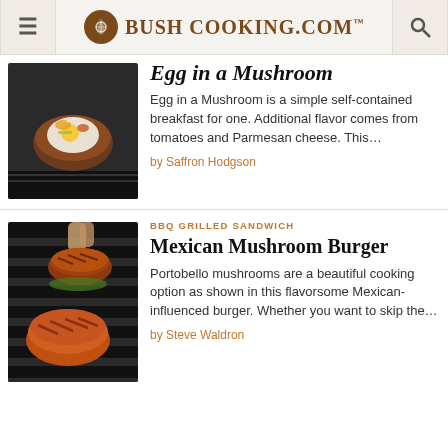Bush Cooking.com
Egg in a Mushroom
Egg in a Mushroom is a simple self-contained breakfast for one. Additional flavor comes from tomatoes and Parmesan cheese. This…
by Saffron Hodgson
BBQ GRILLED SANDWICH
Mexican Mushroom Burger
Portobello mushrooms are a beautiful cooking option as shown in this flavorsome Mexican-influenced burger. Whether you want to skip the…
by Steve Waldron